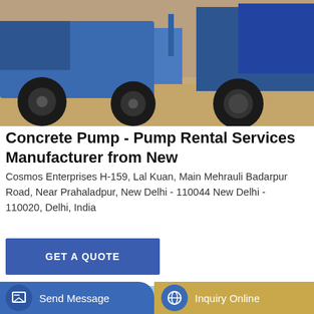[Figure (photo): Construction equipment - blue trucks/concrete pumps parked on sandy ground]
Concrete Pump - Pump Rental Services Manufacturer from New
Cosmos Enterprises H-159, Lal Kuan, Main Mehrauli Badarpur Road, Near Prahaladpur, New Delhi - 110044 New Delhi - 110020, Delhi, India
GET A QUOTE
[Figure (photo): Industrial silos with Chinese characters and company branding: 中交路建 and 中交路桥华北工程有限公司]
Send Message
Inquiry Online